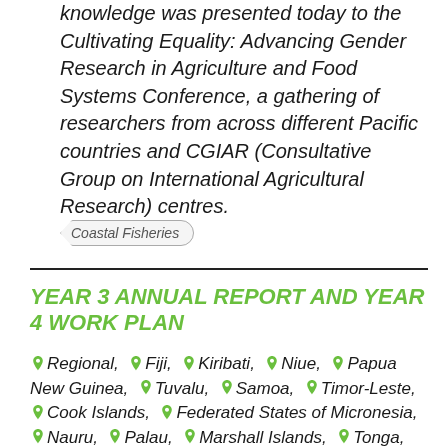knowledge was presented today to the Cultivating Equality: Advancing Gender Research in Agriculture and Food Systems Conference, a gathering of researchers from across different Pacific countries and CGIAR (Consultative Group on International Agricultural Research) centres.
Coastal Fisheries
YEAR 3 ANNUAL REPORT AND YEAR 4 WORK PLAN
Regional, Fiji, Kiribati, Niue, Papua New Guinea, Tuvalu, Samoa, Timor-Leste, Cook Islands, Federated States of Micronesia, Nauru, Palau, Marshall Islands, Tonga, Solomon Islands,